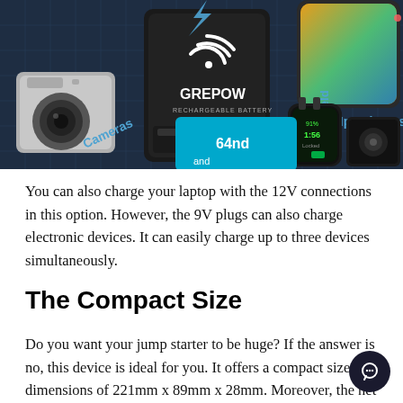[Figure (photo): Product photo showing a Grepow branded rechargeable battery/power bank on a dark blue grid background surrounded by various electronic devices including a camera, smartphone, smartwatch, MP3 player, and SD card with labels: Cameras, Mp3 players, Handheld]
You can also charge your laptop with the 12V connections in this option. However, the 9V plugs can also charge electronic devices. It can easily charge up to three devices simultaneously.
The Compact Size
Do you want your jump starter to be huge? If the answer is no, this device is ideal for you. It offers a compact size and dimensions of 221mm x 89mm x 28mm. Moreover, the net weight for this device is also 675 grams. Therefore, you can